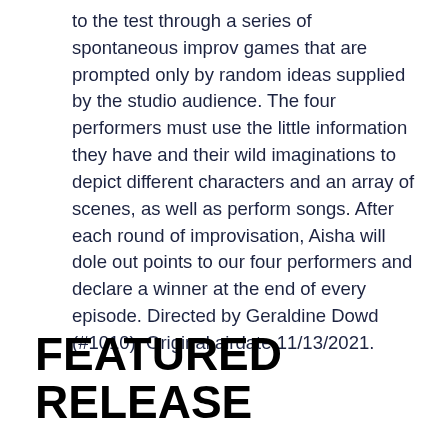to the test through a series of spontaneous improv games that are prompted only by random ideas supplied by the studio audience. The four performers must use the little information they have and their wild imaginations to depict different characters and an array of scenes, as well as perform songs. After each round of improvisation, Aisha will dole out points to our four performers and declare a winner at the end of every episode. Directed by Geraldine Dowd (#1010). Original airdate 11/13/2021.
FEATURED RELEASE